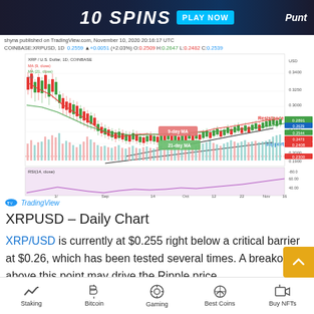[Figure (screenshot): Advertisement banner for online casino with '10 SPINS PLAY NOW' text and Punt logo]
[Figure (screenshot): TradingView candlestick chart for XRP/USD (COINBASE) daily timeframe showing price action from August to November 2020, with moving averages (MA 9, MA 21), volume bars, RSI(14) indicator, support level at 0.2300, resistance at 0.2891, price labels including 9-day MA and 21-day MA annotations, wedge pattern drawn with black trendlines. Published November 10, 2020 20:16:17 UTC by shyna on TradingView.com]
XRPUSD – Daily Chart
XRP/USD is currently at $0.255 right below a critical barrier at $0.26, which has been tested several times. A breakout above this point may drive the Ripple price
Staking  Bitcoin  Gaming  Best Coins  Buy NFTs